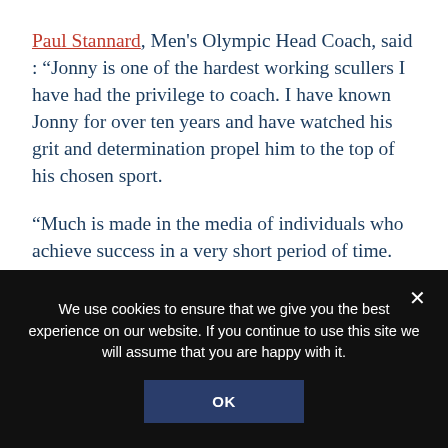Paul Stannard, Men's Olympic Head Coach, said : “Jonny is one of the hardest working scullers I have had the privilege to coach. I have known Jonny for over ten years and have watched his grit and determination propel him to the top of his chosen sport.
“Much is made in the media of individuals who achieve success in a very short period of time. Jonny’s is the far more frequently trodden path of a talented individual who works incredibly hard
We use cookies to ensure that we give you the best experience on our website. If you continue to use this site we will assume that you are happy with it.